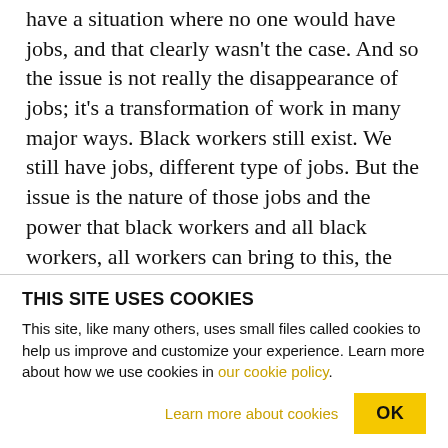have a situation where no one would have jobs, and that clearly wasn't the case. And so the issue is not really the disappearance of jobs; it's a transformation of work in many major ways. Black workers still exist. We still have jobs, different type of jobs. But the issue is the nature of those jobs and the power that black workers and all black workers, all workers can bring to this, the job market, to improve the quality of those jobs. FLETCHER: Dorcas? GILMORE: That transformation really does look like an increase in health-care jobs, in service-sector jobs, in which...
THIS SITE USES COOKIES
This site, like many others, uses small files called cookies to help us improve and customize your experience. Learn more about how we use cookies in our cookie policy.
Learn more about cookies   OK